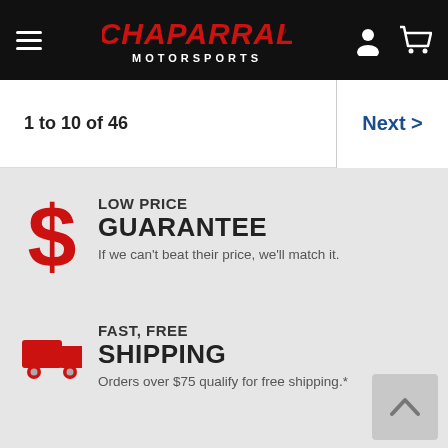Chaparral Motorsports
1 to 10 of 46
Next >
LOW PRICE GUARANTEE
If we can't beat their price, we'll match it.
FAST, FREE SHIPPING
Orders over $75 qualify for free shipping.*